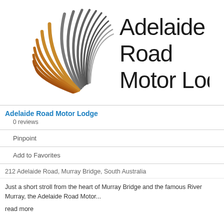[Figure (logo): Adelaide Road Motor Lodge logo — stylized palm leaf/fan shape in gold and grey tones on the left, with the text 'Adelaide Road Motor Lodge' in large black sans-serif font on the right]
Adelaide Road Motor Lodge
0 reviews
Pinpoint
Add to Favorites
212 Adelaide Road, Murray Bridge, South Australia
Just a short stroll from the heart of Murray Bridge and the famous River Murray, the Adelaide Road Motor...
read more